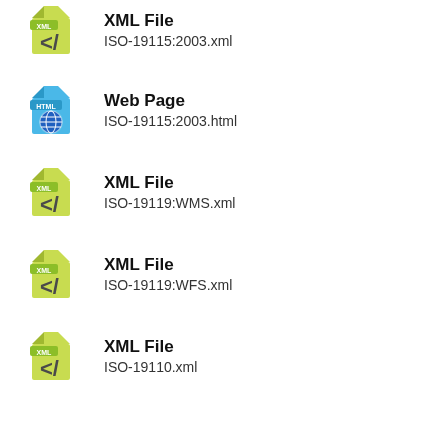XML File
ISO-19115:2003.xml
Web Page
ISO-19115:2003.html
XML File
ISO-19119:WMS.xml
XML File
ISO-19119:WFS.xml
XML File
ISO-19110.xml